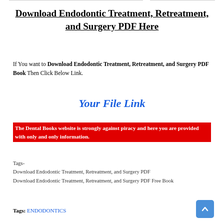Download Endodontic Treatment, Retreatment, and Surgery PDF Here
If You want to Download Endodontic Treatment, Retreatment, and Surgery PDF Book Then Click Below Link.
Your File Link
The Dental Books website is strongly against piracy and here you are provided with only and only information.
Tags-
Download Endodontic Treatment, Retreatment, and Surgery PDF
Download Endodontic Treatment, Retreatment, and Surgery PDF Free Book
Tags: ENDODONTICS